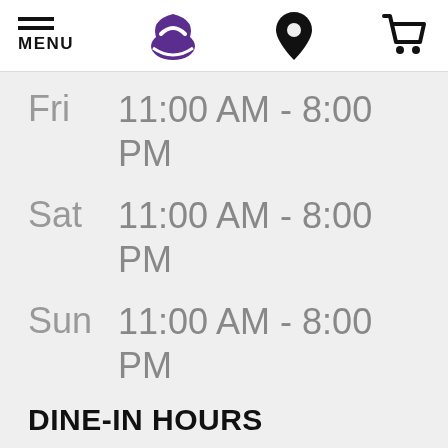[Figure (logo): Taco Bell website header with hamburger menu icon labeled MENU, Taco Bell logo (purple bell icon), location pin icon, and shopping cart icon]
| Day | Hours |
| --- | --- |
| Fri | 11:00 AM - 8:00 PM |
| Sat | 11:00 AM - 8:00 PM |
| Sun | 11:00 AM - 8:00 PM |
DINE-IN HOURS